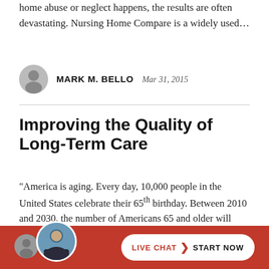home abuse or neglect happens, the results are often devastating. Nursing Home Compare is a widely used…
MARK M. BELLO   Mar 31, 2015
Improving the Quality of Long-Term Care
“America is aging. Every day, 10,000 people in the United States celebrate their 65th birthday. Between 2010 and 2030, the number of Americans 65 and older will nearly double, and the number of those 85 and older is on pace to grow more than 400% by 2050.”…
[Figure (photo): Live chat widget with attorney photo and 'LIVE CHAT START NOW' button on red background]